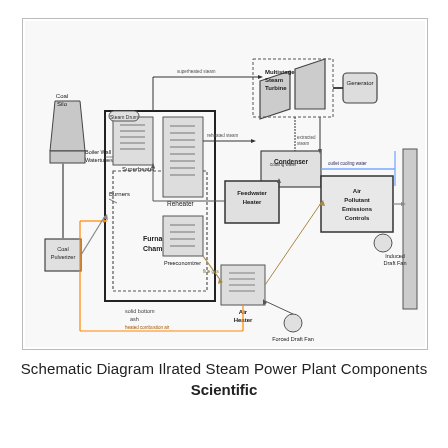[Figure (schematic): Schematic diagram of an illustrated steam power plant showing components: Coal Silo, Coal Pulverizer, Burners, Furnace Chamber, Boiler Wall Watertubes, Superheater, Reheater, Preeconomizer, Air Heater, Feedwater Heater, Condenser, Multistage Steam Turbine, Generator, Air Pollutant Emissions Controls, Induced Draft Fan, Forced Draft Fan, with flow lines for steam, water, flue gas, heated combustion air, cooling water, and outlet cooling water.]
Schematic Diagram Ilrated Steam Power Plant Components
Scientific